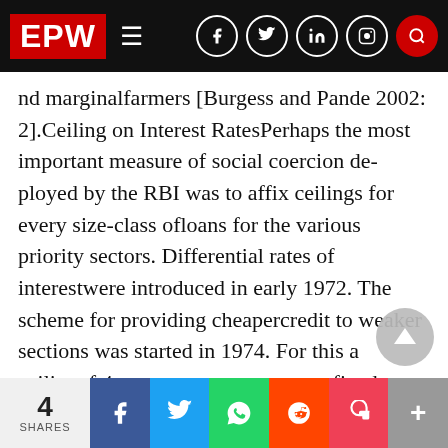EPW
nd marginalfarmers [Burgess and Pande 2002: 2].Ceiling on Interest RatesPerhaps the most important measure of social coercion de-ployed by the RBI was to affix ceilings for every size-class ofloans for the various priority sectors. Differential rates of interestwere introduced in early 1972. The scheme for providing cheapercredit to weaker sections was started in 1974. For this a ceilingof 4 per cent per annum was fixed. Banks had to provide 1 percent of their total loans within the priority sector at this rate.In 1978, the RBI directed commercial banks and RRBs to chargea flat ra 9 per cent on all priority sector loans,
4 SHARES